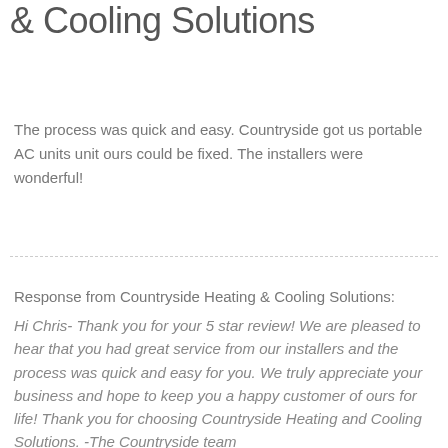& Cooling Solutions
The process was quick and easy. Countryside got us portable AC units unit ours could be fixed. The installers were wonderful!
Response from Countryside Heating & Cooling Solutions:
Hi Chris- Thank you for your 5 star review! We are pleased to hear that you had great service from our installers and the process was quick and easy for you. We truly appreciate your business and hope to keep you a happy customer of ours for life! Thank you for choosing Countryside Heating and Cooling Solutions. -The Countryside team